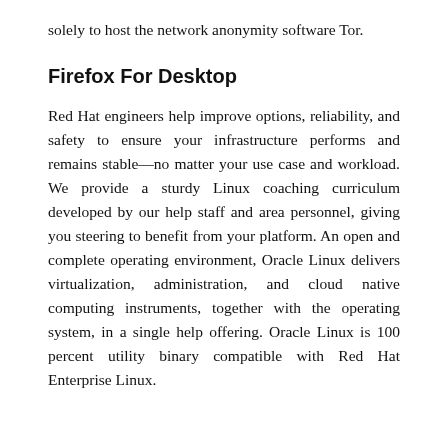solely to host the network anonymity software Tor.
Firefox For Desktop
Red Hat engineers help improve options, reliability, and safety to ensure your infrastructure performs and remains stable—no matter your use case and workload. We provide a sturdy Linux coaching curriculum developed by our help staff and area personnel, giving you steering to benefit from your platform. An open and complete operating environment, Oracle Linux delivers virtualization, administration, and cloud native computing instruments, together with the operating system, in a single help offering. Oracle Linux is 100 percent utility binary compatible with Red Hat Enterprise Linux.